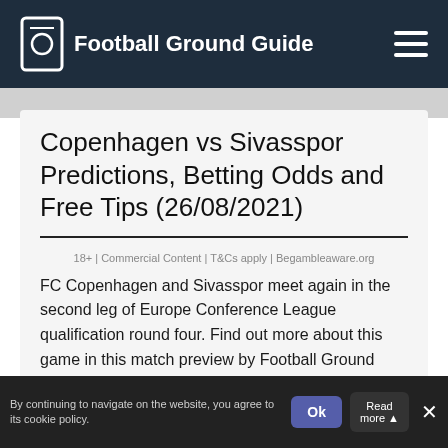Football Ground Guide
Copenhagen vs Sivasspor Predictions, Betting Odds and Free Tips (26/08/2021)
18+ | Commercial Content | T&Cs apply | Begambleaware.org
FC Copenhagen and Sivasspor meet again in the second leg of Europe Conference League qualification round four. Find out more about this game in this match preview by Football Ground Guide tipsters.
Top Free Three Betting Predictions for Copenhagen vs Sivasspor
Football Ground Guide soccer predictions have no